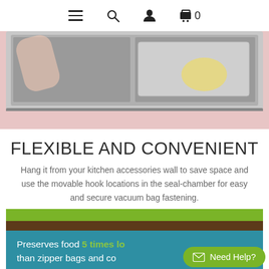Navigation bar with menu, search, account, and cart (0) icons
[Figure (photo): Person placing a bag of food into a vacuum seal appliance tray, shown from above. Light grey and pink tones.]
FLEXIBLE AND CONVENIENT
Hang it from your kitchen accessories wall to save space and use the movable hook locations in the seal-chamber for easy and secure vacuum bag fastening.
[Figure (infographic): Product infographic with green, brown, and teal horizontal bands. Text reads: 'Preserves food 5 times lo[nger] than zipper bags and co[ntainers]'. A 'Need Help?' button appears at bottom right.]